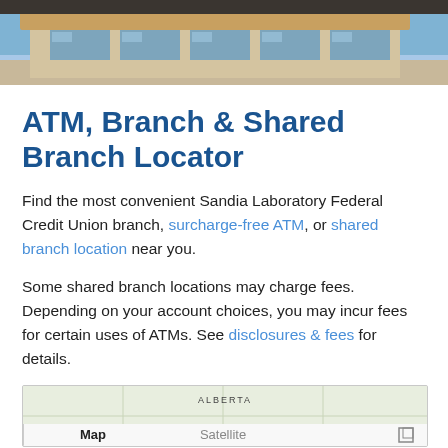[Figure (photo): Exterior photo of a Sandia Laboratory Federal Credit Union building, modern architecture with large windows and a decorative overhang.]
ATM, Branch & Shared Branch Locator
Find the most convenient Sandia Laboratory Federal Credit Union branch, surcharge-free ATM, or shared branch location near you.
Some shared branch locations may charge fees. Depending on your account choices, you may incur fees for certain uses of ATMs. See disclosures & fees for details.
[Figure (map): Google Maps embed showing Map and Satellite toggle buttons, with a map view of Alberta region visible.]